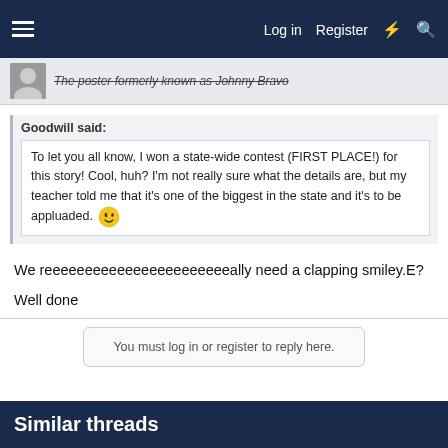Log in | Register
The poster formerly known as Johnny Bravo
Goodwill said:
To let you all know, I won a state-wide contest (FIRST PLACE!) for this story! Cool, huh? I'm not really sure what the details are, but my teacher told me that it's one of the biggest in the state and it's to be appluaded. 😉
We reeeeeeeeeeeeeeeeeeeeeeeally need a clapping smiley.E?
Well done
You must log in or register to reply here.
Similar threads